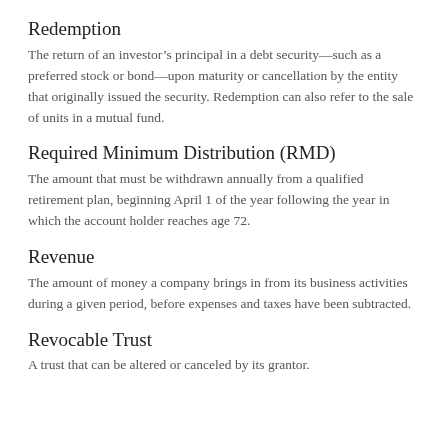Redemption
The return of an investor’s principal in a debt security—such as a preferred stock or bond—upon maturity or cancellation by the entity that originally issued the security. Redemption can also refer to the sale of units in a mutual fund.
Required Minimum Distribution (RMD)
The amount that must be withdrawn annually from a qualified retirement plan, beginning April 1 of the year following the year in which the account holder reaches age 72.
Revenue
The amount of money a company brings in from its business activities during a given period, before expenses and taxes have been subtracted.
Revocable Trust
A trust that can be altered or canceled by its grantor.